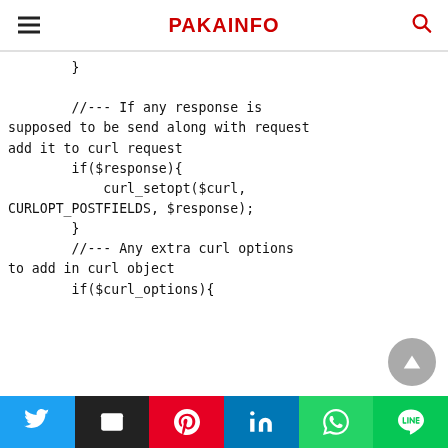PAKAINFO
}

        //--- If any response is supposed to be send along with request add it to curl request
        if($response){
            curl_setopt($curl,
CURLOPT_POSTFIELDS, $response);
        }
        //--- Any extra curl options to add in curl object
        if($curl_options){
Twitter | Email | Pinterest | LinkedIn | WhatsApp | Line